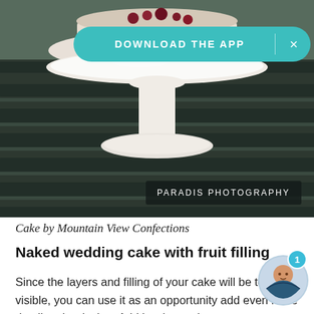[Figure (photo): A white cake on a pedestal stand sitting on a dark wooden slatted table outdoors. The photo has a 'DOWNLOAD THE APP' teal banner overlay at the top and a 'PARADIS PHOTOGRAPHY' credit box at the bottom right.]
Cake by Mountain View Confections
Naked wedding cake with fruit filling
Since the layers and filling of your cake will be totally visible, you can use it as an opportunity add even more detail to the design. Add berries and